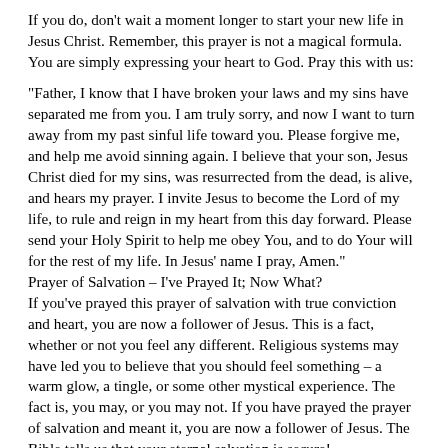If you do, don't wait a moment longer to start your new life in Jesus Christ. Remember, this prayer is not a magical formula. You are simply expressing your heart to God. Pray this with us:
"Father, I know that I have broken your laws and my sins have separated me from you. I am truly sorry, and now I want to turn away from my past sinful life toward you. Please forgive me, and help me avoid sinning again. I believe that your son, Jesus Christ died for my sins, was resurrected from the dead, is alive, and hears my prayer. I invite Jesus to become the Lord of my life, to rule and reign in my heart from this day forward. Please send your Holy Spirit to help me obey You, and to do Your will for the rest of my life. In Jesus' name I pray, Amen."
Prayer of Salvation – I've Prayed It; Now What?
If you've prayed this prayer of salvation with true conviction and heart, you are now a follower of Jesus. This is a fact, whether or not you feel any different. Religious systems may have led you to believe that you should feel something – a warm glow, a tingle, or some other mystical experience. The fact is, you may, or you may not. If you have prayed the prayer of salvation and meant it, you are now a follower of Jesus. The Bible tells us that your eternal salvation is secure!
"that if you confess with your mouth the Lord Jesus and